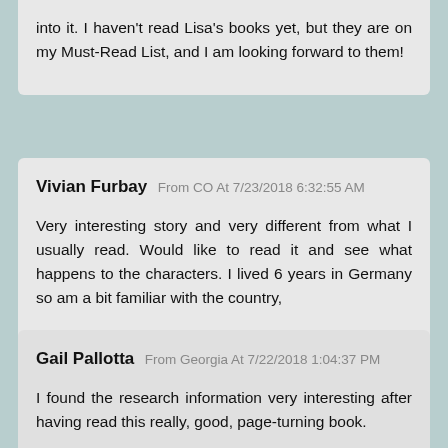into it. I haven't read Lisa's books yet, but they are on my Must-Read List, and I am looking forward to them!
Vivian Furbay From CO At 7/23/2018 6:32:55 AM
Very interesting story and very different from what I usually read. Would like to read it and see what happens to the characters. I lived 6 years in Germany so am a bit familiar with the country,
Gail Pallotta From Georgia At 7/22/2018 1:04:37 PM
I found the research information very interesting after having read this really, good, page-turning book.